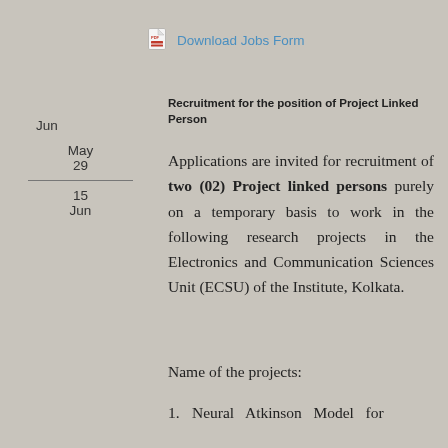Download Jobs Form
Jun
May
29
15
Jun
Recruitment for the position of Project Linked Person
Applications are invited for recruitment of two (02) Project linked persons purely on a temporary basis to work in the following research projects in the Electronics and Communication Sciences Unit (ECSU) of the Institute, Kolkata.
Name of the projects:
1. Neural Atkinson Model for